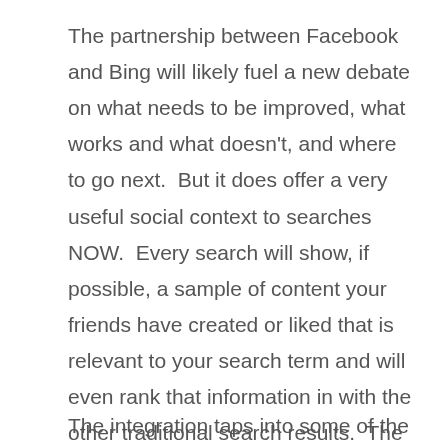The partnership between Facebook and Bing will likely fuel a new debate on what needs to be improved, what works and what doesn't, and where to go next.  But it does offer a very useful social context to searches NOW.  Every search will show, if possible, a sample of content your friends have created or liked that is relevant to your search term and will even rank that information in with the other traditional search results.  The integration of this Facebook “module” in Bing search results will also be seen in the web results on a Facebook search.
The integration taps into some of the